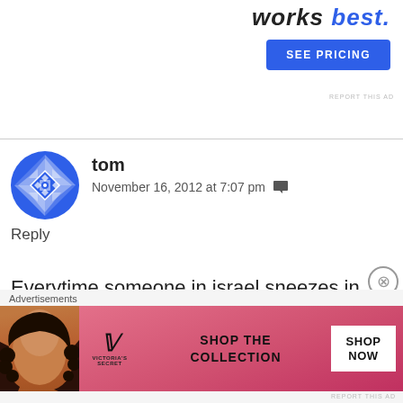[Figure (other): Top advertisement banner partially visible showing 'works best' text and a blue 'SEE PRICING' button with 'REPORT THIS AD' link]
tom
November 16, 2012 at 7:07 pm
Reply
Everytime someone in israel sneezes in the direction of Gaza someonein hamas says 'Israel has opened the gates of hell'
[Figure (other): Victoria's Secret advertisement banner showing a woman with curly hair, VS logo, 'SHOP THE COLLECTION' text and 'SHOP NOW' button]
Advertisements
REPORT THIS AD